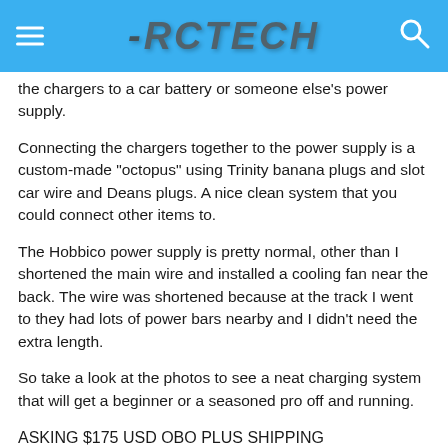RCTECH
the chargers to a car battery or someone else's power supply.
Connecting the chargers together to the power supply is a custom-made "octopus" using Trinity banana plugs and slot car wire and Deans plugs. A nice clean system that you could connect other items to.
The Hobbico power supply is pretty normal, other than I shortened the main wire and installed a cooling fan near the back. The wire was shortened because at the track I went to they had lots of power bars nearby and I didn't need the extra length.
So take a look at the photos to see a neat charging system that will get a beginner or a seasoned pro off and running.
ASKING $175 USD OBO PLUS SHIPPING